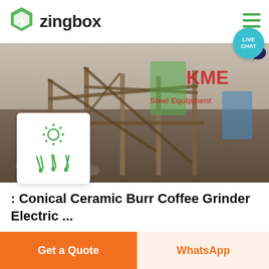zingbox
[Figure (photo): Construction machinery or industrial equipment photo with KME branding text overlay in red and green]
[Figure (illustration): Small white card with green sun/light icon and green antenna/signal icons overlay on the product image]
: Conical Ceramic Burr Coffee Grinder Electric ...
Get a Quote
WhatsApp